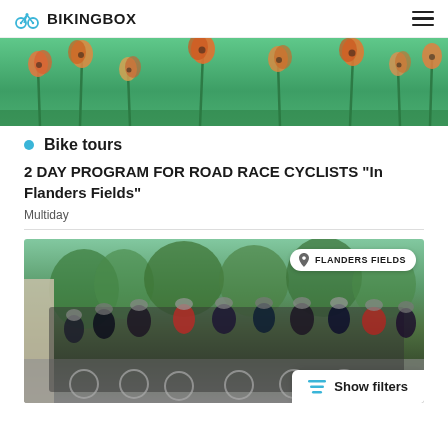BIKINGBOX
[Figure (photo): Decorative hero banner with poppy flowers on green background]
Bike tours
2 DAY PROGRAM FOR ROAD RACE CYCLISTS “In Flanders Fields”
Multiday
[Figure (photo): Group photo of road cyclists with their bikes posing together outdoors near a stone wall with trees in background. Location badge reads: FLANDERS FIELDS. Show filters button visible at bottom right.]